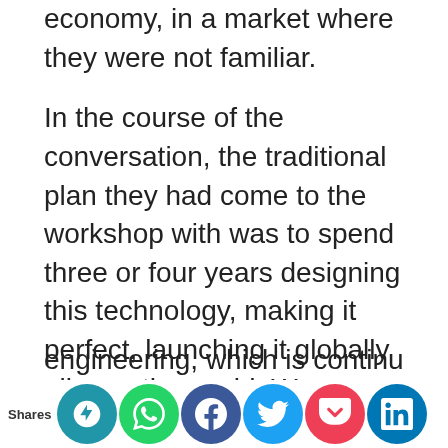economy, in a market where they were not familiar.

In the course of the conversation, the traditional plan they had come to the workshop with was to spend three or four years designing this technology, making it perfect, launching it globally all over the world. We started to have a conversation in the room about what would be required to get this product to market sooner. One of the engineers said, traditionally, we would design and assemble all the components linearly, one after the other in sequence, but there's a technique called set base concurrent engineering, which is continuous in...
Shares [social share icons: Site, WhatsApp, Facebook, Twitter, Pocket, LinkedIn]